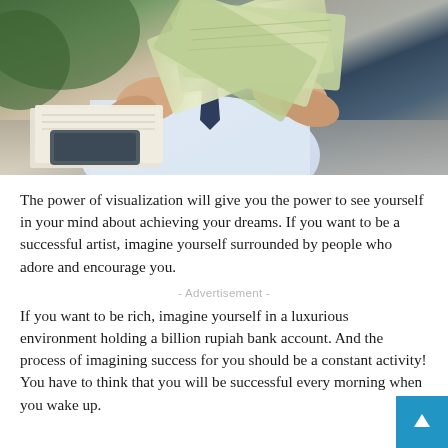[Figure (photo): A person in a white shirt and dark tie holding and fanning out US dollar bills, with documents and a tablet on the desk in front of them.]
The power of visualization will give you the power to see yourself in your mind about achieving your dreams. If you want to be a successful artist, imagine yourself surrounded by people who adore and encourage you.
- Advertisement -
If you want to be rich, imagine yourself in a luxurious environment holding a billion rupiah bank account. And the process of imagining success for you should be a constant activity! You have to think that you will be successful every morning when you wake up.